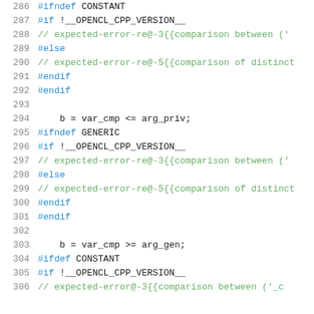[Figure (screenshot): Source code listing showing lines 286-306 of an OpenCL C++ file with preprocessor directives, comments with expected error annotations, and code statements. Line numbers shown in gray on the left, preprocessor keywords in blue, comments in green/teal, and code in monospace font.]